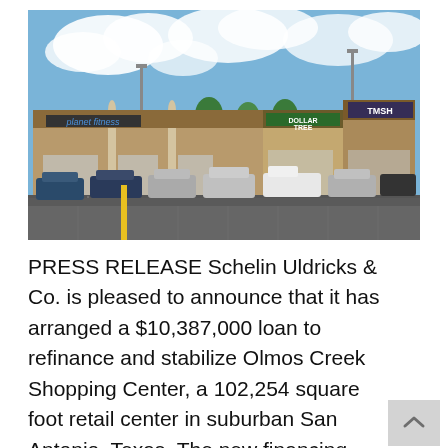[Figure (photo): Exterior photo of Olmos Creek Shopping Center showing storefronts including Planet Fitness, Dollar Tree, and TMSH, with a large parking lot in the foreground under a partly cloudy sky.]
PRESS RELEASE Schelin Uldricks & Co. is pleased to announce that it has arranged a $10,387,000 loan to refinance and stabilize Olmos Creek Shopping Center, a 102,254 square foot retail center in suburban San Antonio, Texas. The new financing enables the property owners to pay off their maturing debt and provides more time to